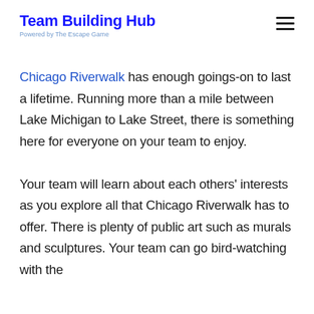Team Building Hub
Powered by The Escape Game
Chicago Riverwalk has enough goings-on to last a lifetime. Running more than a mile between Lake Michigan to Lake Street, there is something here for everyone on your team to enjoy.

Your team will learn about each others' interests as you explore all that Chicago Riverwalk has to offer. There is plenty of public art such as murals and sculptures. Your team can go bird-watching with the